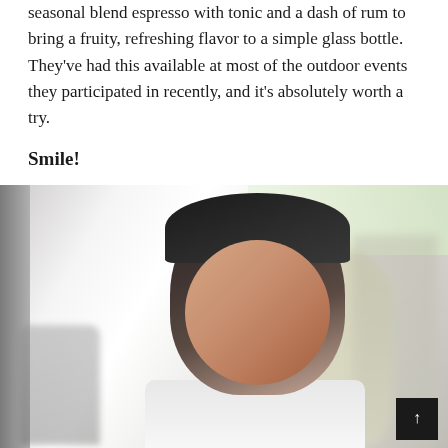seasonal blend espresso with tonic and a dash of rum to bring a fruity, refreshing flavor to a simple glass bottle. They've had this available at most of the outdoor events they participated in recently, and it's absolutely worth a try.
Smile!
[Figure (photo): A smiling Asian man wearing a dark cap and white t-shirt, photographed in a bright indoor or outdoor setting. He has a beard and is squinting with a wide smile. In the background are blurred figures of other people, and a blurred green-tinted area in the upper right. A small black scroll-to-top button with an upward arrow is visible in the lower right corner.]